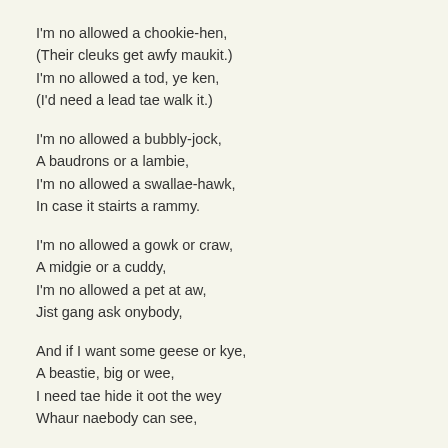I'm no allowed a chookie-hen,
(Their cleuks get awfy maukit.)
I'm no allowed a tod, ye ken,
(I'd need a lead tae walk it.)

I'm no allowed a bubbly-jock,
A baudrons or a lambie,
I'm no allowed a swallae-hawk,
In case it stairts a rammy.

I'm no allowed a gowk or craw,
A midgie or a cuddy,
I'm no allowed a pet at aw,
Jist gang ask onybody,

And if I want some geese or kye,
A beastie, big or wee,
I need tae hide it oot the wey
Whaur naebody can see,

Sae in a box aneath the flair,
I've got a clatty moose,
And in the press, ahint the stair,
A HERD O PLATYPUS.